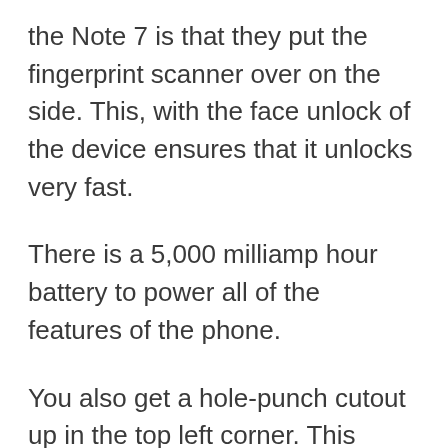the Note 7 is that they put the fingerprint scanner over on the side. This, with the face unlock of the device ensures that it unlocks very fast.
There is a 5,000 milliamp hour battery to power all of the features of the phone.
You also get a hole-punch cutout up in the top left corner. This implementation of the camera is one of the least distracting implementation you'll see on a device because you can still watch a video and not